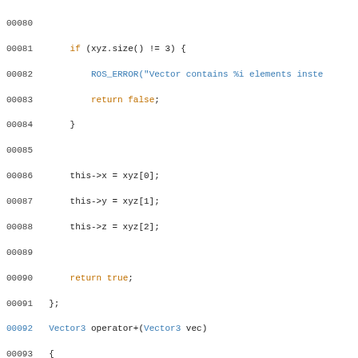[Figure (screenshot): C++ source code listing showing lines 00080 to 00109 with syntax highlighting. Contains Vector3 operator+ and Rotation class definitions.]